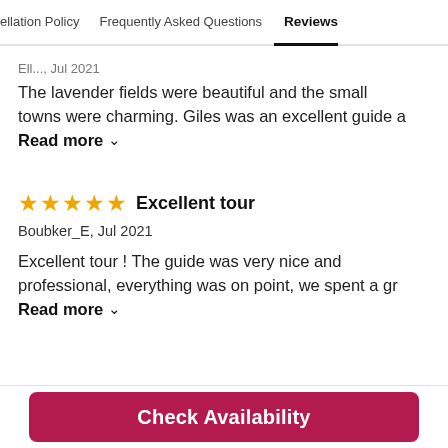ellation Policy   Frequently Asked Questions   Reviews
Ell..., Jul 2021
The lavender fields were beautiful and the small towns were charming. Giles was an excellent guide a
Read more ∨
★★★★★ Excellent tour
Boubker_E, Jul 2021
Excellent tour ! The guide was very nice and professional, everything was on point, we spent a gr
Read more ∨
Check Availability